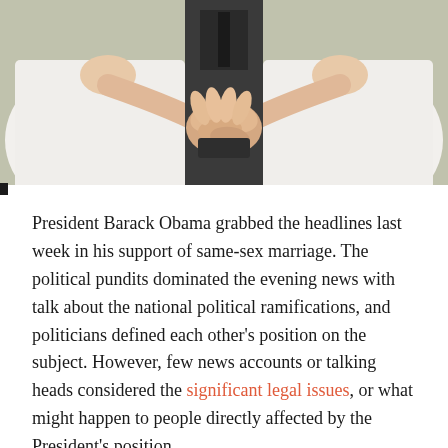[Figure (photo): Wedding ceremony photo showing two brides in white dresses holding hands with an officiant in dark clothing in the center. The hands are prominently joined in the middle of the frame.]
President Barack Obama grabbed the headlines last week in his support of same-sex marriage. The political pundits dominated the evening news with talk about the national political ramifications, and politicians defined each other's position on the subject. However, few news accounts or talking heads considered the significant legal issues, or what might happen to people directly affected by the President's position.
In the end, it will be the courts of law and not the courts of